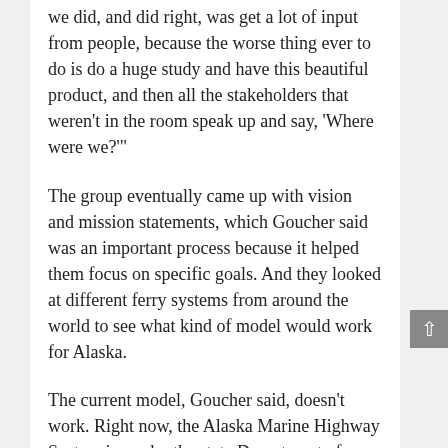we did, and did right, was get a lot of input from people, because the worse thing ever to do is do a huge study and have this beautiful product, and then all the stakeholders that weren't in the room speak up and say, 'Where were we?'"
The group eventually came up with vision and mission statements, which Goucher said was an important process because it helped them focus on specific goals. And they looked at different ferry systems from around the world to see what kind of model would work for Alaska.
The current model, Goucher said, doesn't work. Right now, the Alaska Marine Highway System is run by the state Department of Transportation, which also is in charge of all the state roads and public facilities. That department's resources are